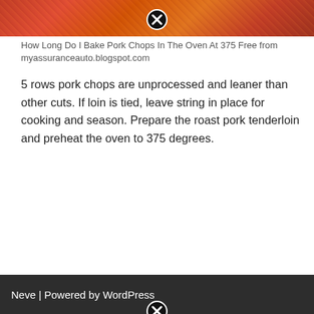[Figure (photo): Photo of glazed pork chops / ribs with red sauce, partially cropped at top. Has a close/X button overlay in the center-top area.]
How Long Do I Bake Pork Chops In The Oven At 375 Free from myassuranceauto.blogspot.com
5 rows pork chops are unprocessed and leaner than other cuts. If loin is tied, leave string in place for cooking and season. Prepare the roast pork tenderloin and preheat the oven to 375 degrees.
Read More »
Neve | Powered by WordPress